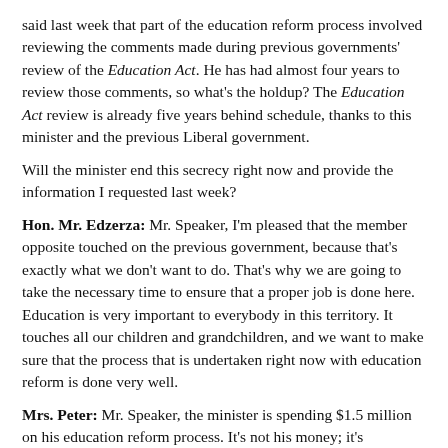said last week that part of the education reform process involved reviewing the comments made during previous governments' review of the Education Act. He has had almost four years to review those comments, so what's the holdup? The Education Act review is already five years behind schedule, thanks to this minister and the previous Liberal government.
Will the minister end this secrecy right now and provide the information I requested last week?
Hon. Mr. Edzerza: Mr. Speaker, I'm pleased that the member opposite touched on the previous government, because that's exactly what we don't want to do. That's why we are going to take the necessary time to ensure that a proper job is done here. Education is very important to everybody in this territory. It touches all our children and grandchildren, and we want to make sure that the process that is undertaken right now with education reform is done very well.
Mrs. Peter: Mr. Speaker, the minister is spending $1.5 million on his education reform process. It's not his money; it's taxpayers' money. They have the right to know how this money is being spent. I have another concern about the discussion papers the minister is sitting on. They could have a profound effect on people who work for this government - the teachers, the administrators and the support workers. Do they not have the right to